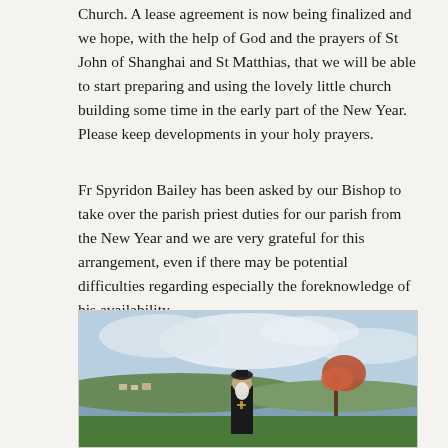Church. A lease agreement is now being finalized and we hope, with the help of God and the prayers of St John of Shanghai and St Matthias, that we will be able to start preparing and using the lovely little church building some time in the early part of the New Year. Please keep developments in your holy prayers.
Fr Spyridon Bailey has been asked by our Bishop to take over the parish priest duties for our parish from the New Year and we are very grateful for this arrangement, even if there may be potential difficulties regarding especially the foreknowledge of his availability.
[Figure (photo): A priest with a long white beard standing outdoors near a body of water, with green hills, a small settlement, and an autumn tree visible in the background under a partly cloudy sky.]